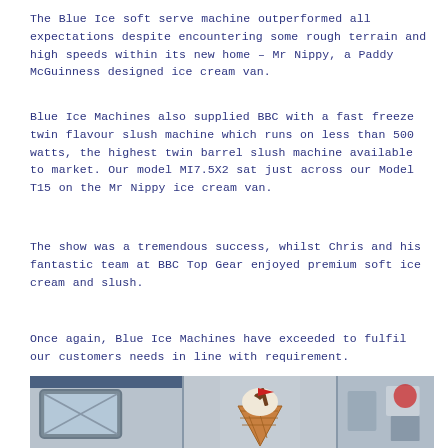The Blue Ice soft serve machine outperformed all expectations despite encountering some rough terrain and high speeds within its new home  – Mr Nippy, a Paddy McGuinness designed ice cream van.
Blue Ice Machines also supplied BBC with a fast freeze twin flavour slush machine which runs on less than 500 watts, the highest twin barrel slush machine available to market. Our model MI7.5X2 sat just across our Model T15 on the Mr Nippy ice cream van.
The show was a tremendous success, whilst Chris and his fantastic team at BBC Top Gear enjoyed premium soft ice cream and slush.
Once again, Blue Ice Machines have exceeded to fulfil our customers needs in line with requirement.
[Figure (photo): Photograph of Mr Nippy ice cream van showing the side panel with a window on the left, an ice cream cone graphic in the centre, and interior/background on the right.]